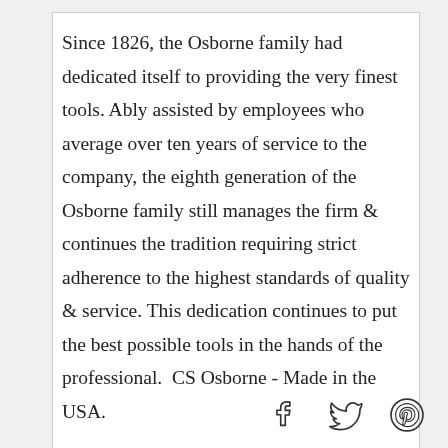Since 1826, the Osborne family had dedicated itself to providing the very finest tools. Ably assisted by employees who average over ten years of service to the company, the eighth generation of the Osborne family still manages the firm & continues the tradition requiring strict adherence to the highest standards of quality & service. This dedication continues to put the best possible tools in the hands of the professional.  CS Osborne - Made in the USA.
[Figure (other): Social media icons: Facebook, Twitter, Pinterest]